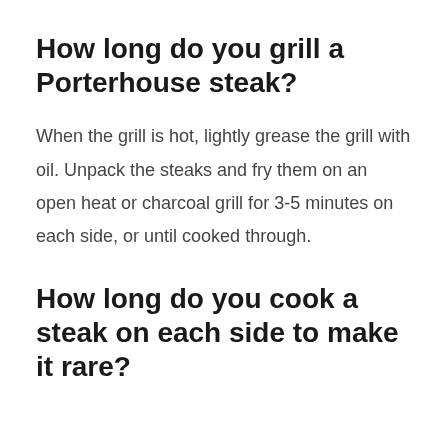How long do you grill a Porterhouse steak?
When the grill is hot, lightly grease the grill with oil. Unpack the steaks and fry them on an open heat or charcoal grill for 3-5 minutes on each side, or until cooked through.
How long do you cook a steak on each side to make it rare?